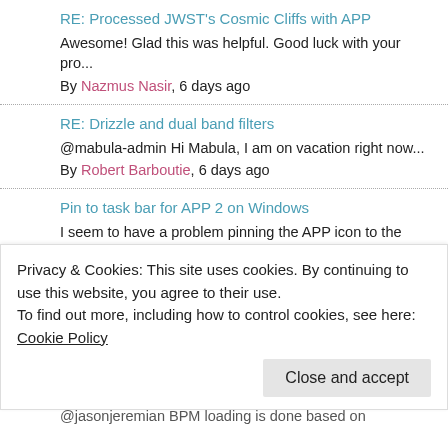RE: Processed JWST's Cosmic Cliffs with APP
Awesome! Glad this was helpful. Good luck with your pro...
By Nazmus Nasir, 6 days ago
RE: Drizzle and dual band filters
@mabula-admin Hi Mabula, I am on vacation right now...
By Robert Barboutie, 6 days ago
Pin to task bar for APP 2 on Windows
I seem to have a problem pinning the APP icon to the ta...
By Colm O'Dwyer, 7 days ago
RE: Processed JWST's Cosmic Cliffs with APP
Privacy & Cookies: This site uses cookies. By continuing to use this website, you agree to their use.
To find out more, including how to control cookies, see here: Cookie Policy
@jasonjeremian BPM loading is done based on